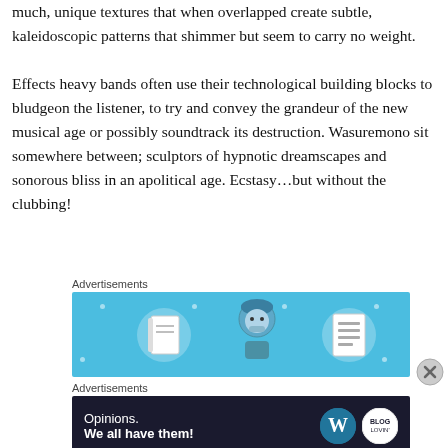much, unique textures that when overlapped create subtle, kaleidoscopic patterns that shimmer but seem to carry no weight.
Effects heavy bands often use their technological building blocks to bludgeon the listener, to try and convey the grandeur of the new musical age or possibly soundtrack its destruction. Wasuremono sit somewhere between; sculptors of hypnotic dreamscapes and sonorous bliss in an apolitical age. Ecstasy…but without the clubbing!
Advertisements
[Figure (illustration): Blue advertisement banner with cartoon illustration of a person (blue helmet/hat) flanked by two circular icons: a notebook on the left and a lined document on the right, with decorative plus/dot patterns on the blue background.]
Advertisements
[Figure (illustration): Dark navy advertisement banner reading 'Opinions. We all have them!' with WordPress logo circle and a blog-related logo circle on the right side.]